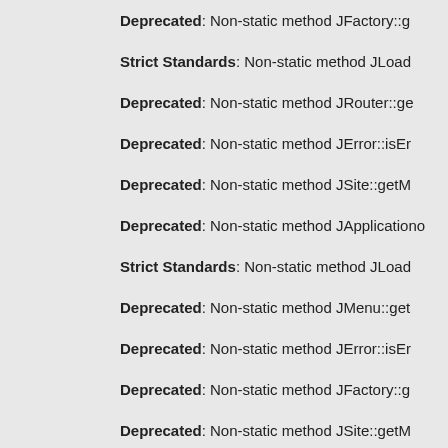Deprecated: Non-static method JFactory::g
Strict Standards: Non-static method JLoad
Deprecated: Non-static method JRouter::ge
Deprecated: Non-static method JError::isEr
Deprecated: Non-static method JSite::getM
Deprecated: Non-static method JApplication
Strict Standards: Non-static method JLoad
Deprecated: Non-static method JMenu::get
Deprecated: Non-static method JError::isEr
Deprecated: Non-static method JFactory::g
Deprecated: Non-static method JSite::getM
Deprecated: Non-static method JApplication
Strict Standards: Non-static method JLoad